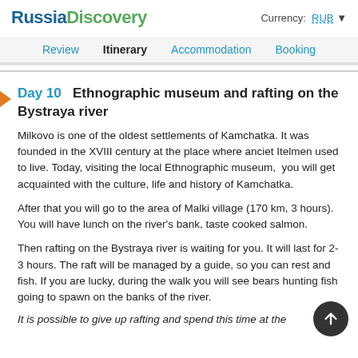RussiaDiscovery   Currency: RUB
Review  Itinerary  Accommodation  Booking
Day 10  Ethnographic museum and rafting on the Bystraya river
Milkovo is one of the oldest settlements of Kamchatka. It was founded in the XVIII century at the place where anciet Itelmen used to live. Today, visiting the local Ethnographic museum,  you will get acquainted with the culture, life and history of Kamchatka.
After that you will go to the area of Malki village (170 km, 3 hours). You will have lunch on the river's bank, taste cooked salmon.
Then rafting on the Bystraya river is waiting for you. It will last for 2-3 hours. The raft will be managed by a guide, so you can rest and fish. If you are lucky, during the walk you will see bears hunting fish going to spawn on the banks of the river.
It is possible to give up rafting and spend this time at the